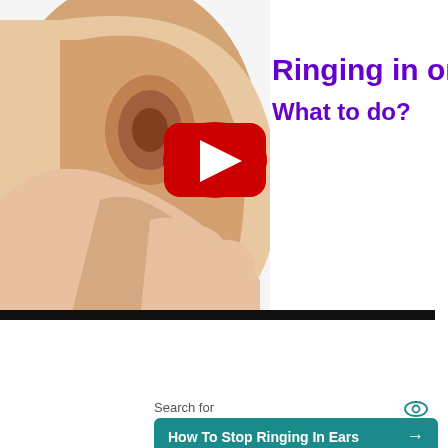[Figure (screenshot): YouTube video thumbnail showing a person holding their hand near their ear, with purple text 'Ringing in one' and 'What to do?' overlaid, plus a red YouTube play button in the center. Below is a black bar (redacted content). An X close button appears at bottom right of the black bar.]
Search for
How To Stop Ringing In Ears →
Best Ways To Stop Ringing In Ears →
Yahoo! Search | Sponsored